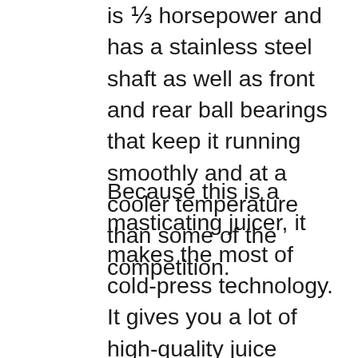is ⅓ horsepower and has a stainless steel shaft as well as front and rear ball bearings that keep it running smoothly and at a cooler temperature than some of the competition.
Because this is a masticating juicer, it makes the most of cold-press technology. It gives you a lot of high-quality juice because it doesn't add any heat throughout the process. This is a heavy-duty commercial grade tool that's perfect for harder vegetables that other juicers can't handle as well, things like carrots, apples, pears, and root vegetables. On top of that, it does all this at a faster speed than the competition so you won't have to wait as long to enjoy